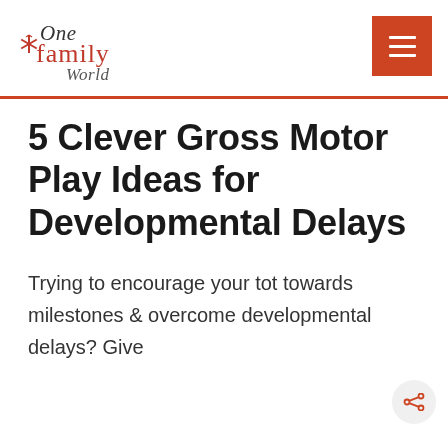[Figure (logo): One Family World cursive logo with asterisk/snowflake symbol in red-orange]
5 Clever Gross Motor Play Ideas for Developmental Delays
Trying to encourage your tot towards milestones & overcome developmental delays? Give